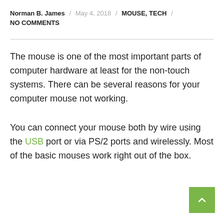Norman B. James / May 4, 2018 / MOUSE, TECH / NO COMMENTS
The mouse is one of the most important parts of computer hardware at least for the non-touch systems. There can be several reasons for your computer mouse not working.
You can connect your mouse both by wire using the USB port or via PS/2 ports and wirelessly. Most of the basic mouses work right out of the box.